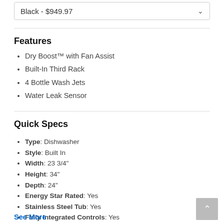Black  -  $949.97
Features
Dry Boost™ with Fan Assist
Built-In Third Rack
4 Bottle Wash Jets
Water Leak Sensor
Quick Specs
Type: Dishwasher
Style: Built In
Width: 23 3/4"
Height: 34"
Depth: 24"
Energy Star Rated: Yes
Stainless Steel Tub: Yes
Fully Integrated Controls: Yes
Tall Tub: Yes
Decibel Level: 46.0 dB
WiFi Connected: No
See More